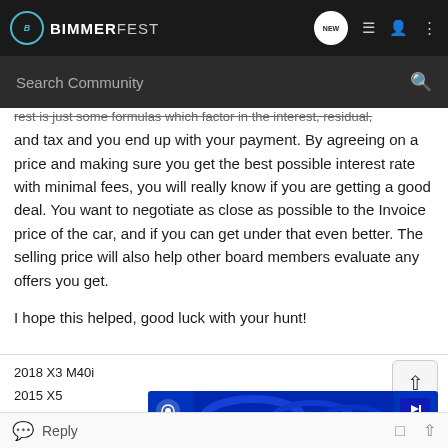BIMMERFEST
rest is just some formulas which factor in the interest, residual, and tax and you end up with your payment. By agreeing on a price and making sure you get the best possible interest rate with minimal fees, you will really know if you are getting a good deal. You want to negotiate as close as possible to the Invoice price of the car, and if you can get under that even better. The selling price will also help other board members evaluate any offers you get.

I hope this helped, good luck with your hunt!
2018 X3 M40i
2015 X5
[Figure (screenshot): Video thumbnail with blue background showing coiled objects, with user avatar icon on left and play/indicator icon on right]
Reply